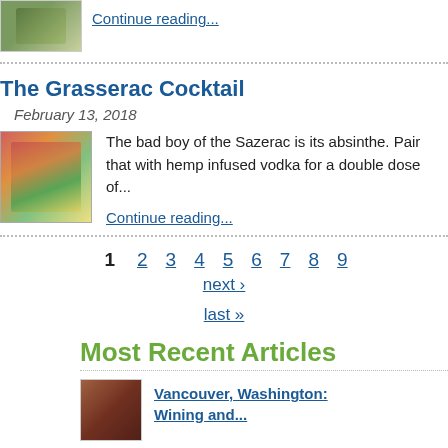[Figure (photo): Small food/drink image at top left, partially visible]
Continue reading...
The Grasserac Cocktail
February 13, 2018
[Figure (photo): Colorful cocktail drinks with glasses including green and orange drinks]
The bad boy of the Sazerac is its absinthe. Pair that with hemp infused vodka for a double dose of...
Continue reading...
1
2
3
4
5
6
7
8
9
next ›
last »
Most Recent Articles
[Figure (photo): Food image - appears to be tacos or similar dish]
Vancouver, Washington: Wining and...